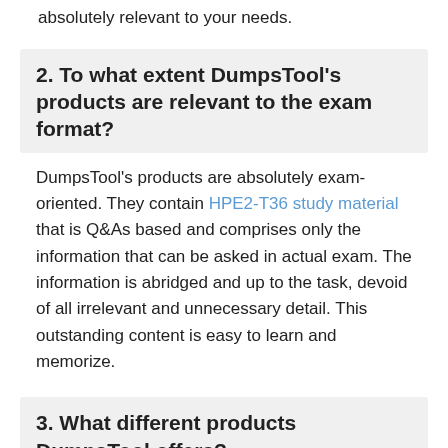absolutely relevant to your needs.
2. To what extent DumpsTool’s products are relevant to the exam format?
DumpsTool’s products are absolutely exam-oriented. They contain HPE2-T36 study material that is Q&As based and comprises only the information that can be asked in actual exam. The information is abridged and up to the task, devoid of all irrelevant and unnecessary detail. This outstanding content is easy to learn and memorize.
3. What different products DumpsTool offers?
DumpsTool offers a variety of products to its clients to cater to their individual needs. DumpsTool Study Guides, HPE2-T36 Exam Dumps, Practice Questions